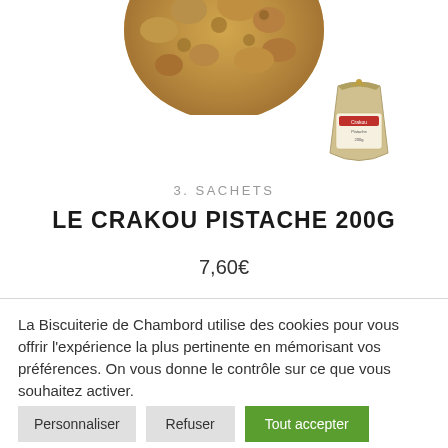[Figure (photo): Top portion of a large round pistachio cookie/biscuit shown from above, with crumbly texture]
[Figure (photo): Small packaged bag of Crakou Pistache cookies with a label, shown in the lower right]
3. SACHETS
LE CRAKOU PISTACHE 200G
7,60€
La Biscuiterie de Chambord utilise des cookies pour vous offrir l'expérience la plus pertinente en mémorisant vos préférences. On vous donne le contrôle sur ce que vous souhaitez activer.
Personnaliser
Refuser
Tout accepter